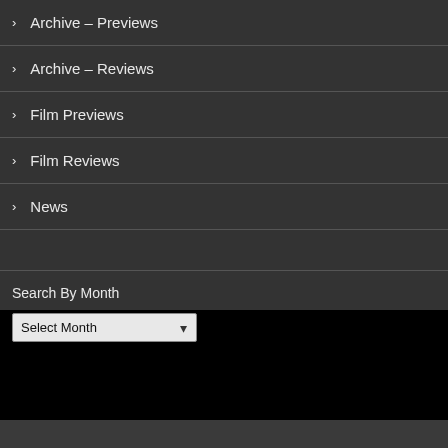> Archive – Previews
> Archive – Reviews
> Film Previews
> Film Reviews
> News
Search By Month
Select Month